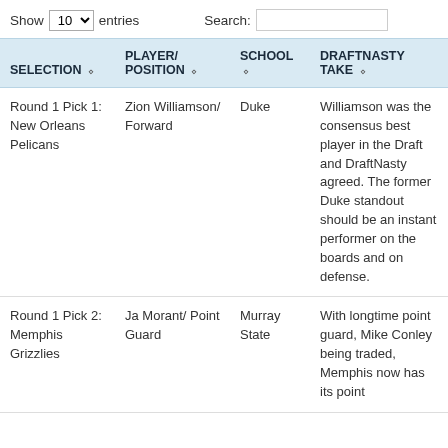Show 10 entries   Search:
| SELECTION | PLAYER/POSITION | SCHOOL | DRAFTNASTY TAKE |
| --- | --- | --- | --- |
| Round 1 Pick 1: New Orleans Pelicans | Zion Williamson/Forward | Duke | Williamson was the consensus best player in the Draft and DraftNasty agreed. The former Duke standout should be an instant performer on the boards and on defense. |
| Round 1 Pick 2: Memphis Grizzlies | Ja Morant/Point Guard | Murray State | With longtime point guard, Mike Conley being traded, Memphis now has its point... |